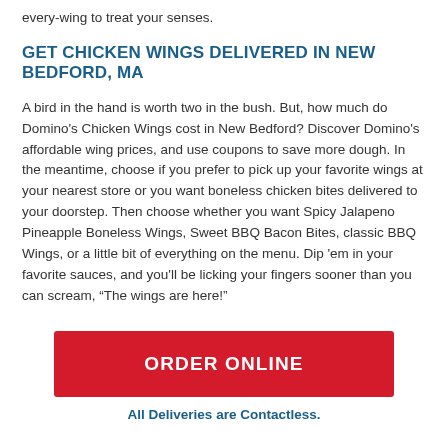every-wing to treat your senses.
GET CHICKEN WINGS DELIVERED IN NEW BEDFORD, MA
A bird in the hand is worth two in the bush. But, how much do Domino's Chicken Wings cost in New Bedford? Discover Domino's affordable wing prices, and use coupons to save more dough. In the meantime, choose if you prefer to pick up your favorite wings at your nearest store or you want boneless chicken bites delivered to your doorstep. Then choose whether you want Spicy Jalapeno Pineapple Boneless Wings, Sweet BBQ Bacon Bites, classic BBQ Wings, or a little bit of everything on the menu. Dip 'em in your favorite sauces, and you'll be licking your fingers sooner than you can scream, “The wings are here!”
[Figure (other): Red ORDER ONLINE button]
All Deliveries are Contactless.